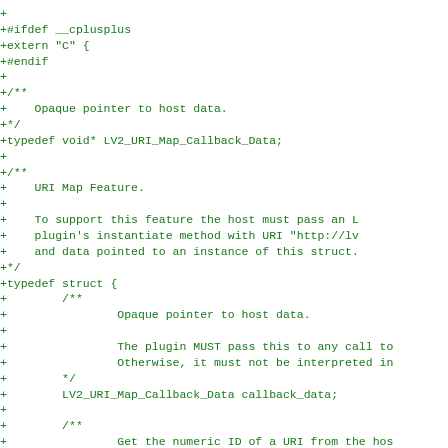+
+#ifdef __cplusplus
+extern "C" {
+#endif
+
+/**
+    Opaque pointer to host data.
+*/
+typedef void* LV2_URI_Map_Callback_Data;
+
+/**
+    URI Map Feature.
+
+    To support this feature the host must pass an L
+    plugin's instantiate method with URI "http://lv
+    and data pointed to an instance of this struct.
+*/
+typedef struct {
+        /**
+                Opaque pointer to host data.
+
+                The plugin MUST pass this to any call to
+                Otherwise, it must not be interpreted in
+        */
+        LV2_URI_Map_Callback_Data callback_data;
+
+        /**
+                Get the numeric ID of a URI from the hos
+
+                @param callback_data Must be the callbac